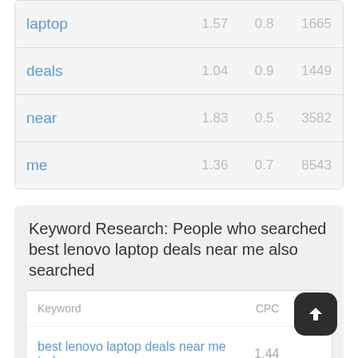| Keyword | CPC | PCC |  |
| --- | --- | --- | --- |
| laptop | 1.57 | 0.8 | 1665... |
| deals | 1.04 | 0.9 | 1449... |
| near | 1.83 | 0.5 | 3582... |
| me | 1.36 | 0.7 | 8543... |
Keyword Research: People who searched best lenovo laptop deals near me also searched
| Keyword | CPC | PCC |
| --- | --- | --- |
| best lenovo laptop deals near me today | 1.44 |  |
| best lenovo laptop deals near me | 0.9 | 0.3 |